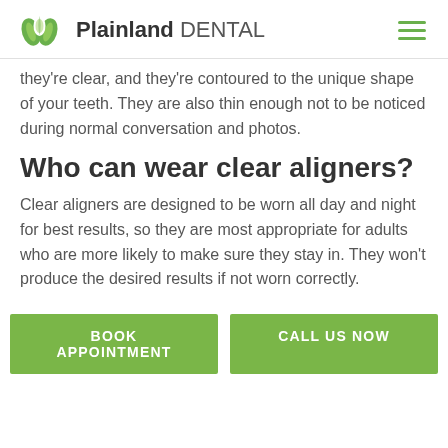Plainland DENTAL
they're clear, and they're contoured to the unique shape of your teeth. They are also thin enough not to be noticed during normal conversation and photos.
Who can wear clear aligners?
Clear aligners are designed to be worn all day and night for best results, so they are most appropriate for adults who are more likely to make sure they stay in. They won't produce the desired results if not worn correctly.
[Figure (other): Two green call-to-action buttons: BOOK APPOINTMENT and CALL US NOW]